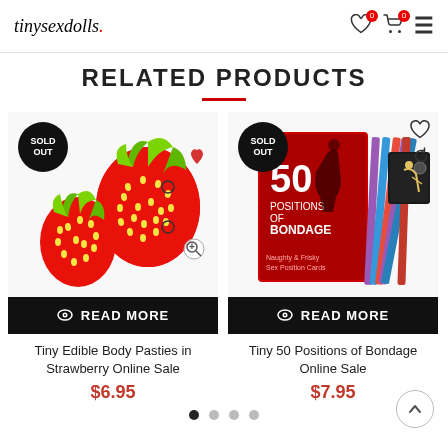tinysexdolls.
RELATED PRODUCTS
[Figure (photo): Two product cards: Left: strawberry-shaped edible body pasties product image with SOLD OUT badge. Right: 50 Positions of Bondage card pack product image with SOLD OUT badge.]
Tiny Edible Body Pasties in Strawberry Online Sale
$6.95
Tiny 50 Positions of Bondage Online Sale
$7.95